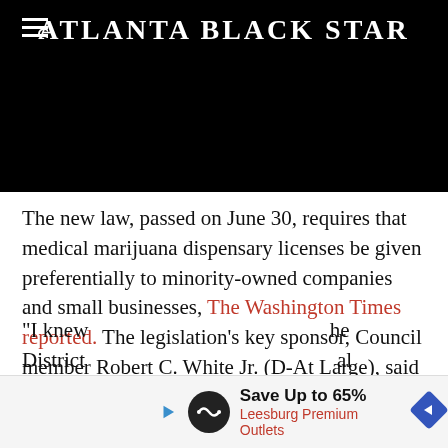Atlanta Black Star
[Figure (photo): Black rectangular banner/image area serving as header background for Atlanta Black Star website]
The new law, passed on June 30, requires that medical marijuana dispensary licenses be given preferentially to minority-owned companies and small businesses, The Washington Times reported. The legislation's key sponsor, Council member Robert C. White Jr. (D-At Large), said the law is needed to help nonwhite and small business entrepreneurs rise above economic disadvantages.
"I knew ... he District ... al
Save Up to 65% Leesburg Premium Outlets